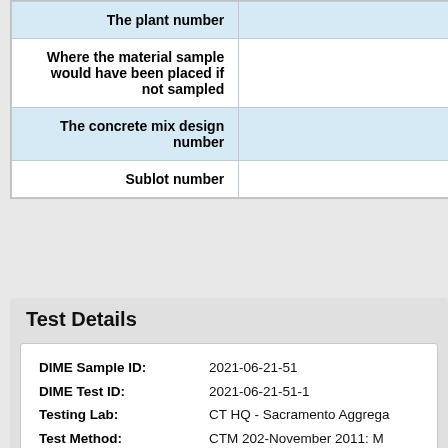| Field | Value |
| --- | --- |
| The plant number |  |
| Where the material sample would have been placed if not sampled |  |
| The concrete mix design number |  |
| Sublot number |  |
Test Details
| Field | Value |
| --- | --- |
| DIME Sample ID: | 2021-06-21-51 |
| DIME Test ID: | 2021-06-21-51-1 |
| Testing Lab: | CT HQ - Sacramento Aggrega… |
| Test Method: | CTM 202-November 2011: M… |
| Test Release Date: | 2021-08-16 |